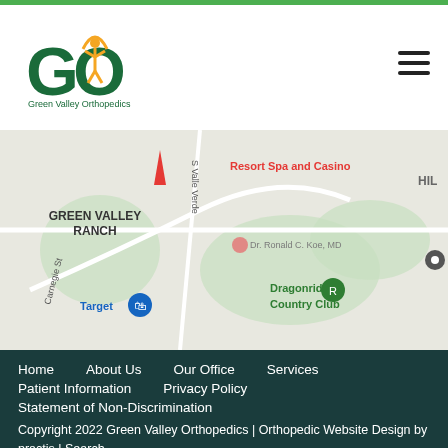[Figure (logo): GVO Green Valley Orthopedics logo with green text and gold figure]
[Figure (map): Google Maps screenshot showing Green Valley Ranch area with Dragonridge Country Club, Resort Spa and Casino, Target, and a location pin for Dr. Ronald C. Koe MD]
Home
About Us
Our Office
Services
Patient Information
Privacy Policy
Statement of Non-Discrimination
Copyright 2022 Green Valley Orthopedics | Orthopedic Website Design by practis | Search